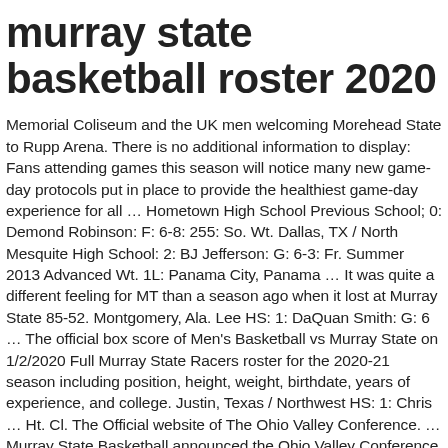murray state basketball roster 2020
Memorial Coliseum and the UK men welcoming Morehead State to Rupp Arena. There is no additional information to display: Fans attending games this season will notice many new game-day protocols put in place to provide the healthiest game-day experience for all … Hometown High School Previous School; 0: Demond Robinson: F: 6-8: 255: So. Wt. Dallas, TX / North Mesquite High School: 2: BJ Jefferson: G: 6-3: Fr. Summer 2013 Advanced Wt. 1L: Panama City, Panama … It was quite a different feeling for MT than a season ago when it lost at Murray State 85-52. Montgomery, Ala. Lee HS: 1: DaQuan Smith: G: 6 … The official box score of Men's Basketball vs Murray State on 1/2/2020 Full Murray State Racers roster for the 2020-21 season including position, height, weight, birthdate, years of experience, and college. Justin, Texas / Northwest HS: 1: Chris … Ht. Cl. The Official website of The Ohio Valley Conference. … Murray State Basketball announced the Ohio Valley Conference portion of the 2019-20 season. The 2020–21 Tennessee Tech Golden Eagles men's basketball team represents Tennessee Technological University in the 2020–21 NCAA